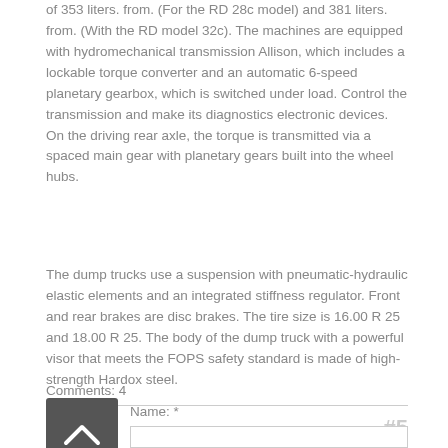of 353 liters. from. (For the RD 28c model) and 381 liters. from. (With the RD model 32c). The machines are equipped with hydromechanical transmission Allison, which includes a lockable torque converter and an automatic 6-speed planetary gearbox, which is switched under load. Control the transmission and make its diagnostics electronic devices. On the driving rear axle, the torque is transmitted via a spaced main gear with planetary gears built into the wheel hubs.
The dump trucks use a suspension with pneumatic-hydraulic elastic elements and an integrated stiffness regulator. Front and rear brakes are disc brakes. The tire size is 16.00 R 25 and 18.00 R 25. The body of the dump truck with a powerful visor that meets the FOPS safety standard is made of high-strength Hardox steel.
Comments: 4
#5
Name: *